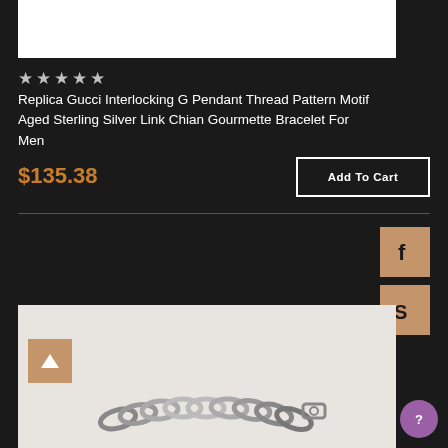[Figure (photo): White product image area at top]
★★★★★
Replica Gucci Interlocking G Pendant Thread Pattern Motif Aged Sterling Silver Link Chian Gourmette Bracelet For Men
$135.38
Add To Cart
[Figure (photo): Bracelet product photo showing silver chain link bracelet with clasp on light gray background]